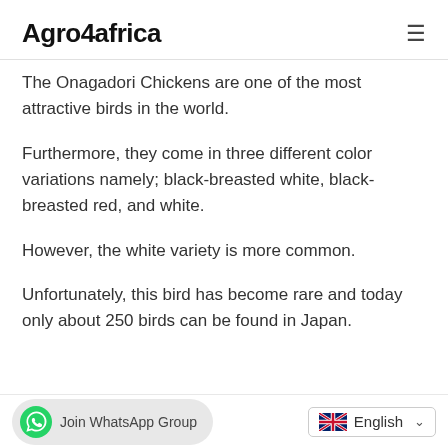Agro4africa
The Onagadori Chickens are one of the most attractive birds in the world.
Furthermore, they come in three different color variations namely; black-breasted white, black-breasted red, and white.
However, the white variety is more common.
Unfortunately, this bird has become rare and today only about 250 birds can be found in Japan.
Join WhatsApp Group | English